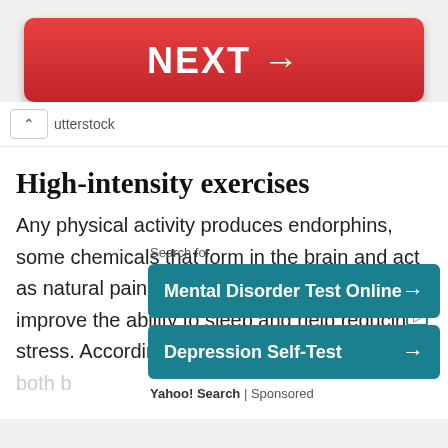[Figure (screenshot): Red NEXT → button]
utterstock
High-intensity exercises
Any physical activity produces endorphins, some chemicals that form in the brain and act as natural painkillers. These endorphins improve the ability to sleep and help reducing stress. According to some s...for both b...
[Figure (screenshot): Yahoo Search sponsored ad overlay with 'Mental Disorder Test Online' and 'Depression Self-Test' buttons]
Yahoo! Search | Sponsored